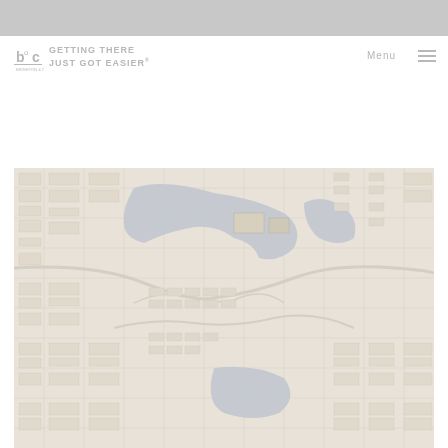[Figure (logo): boc logo with text GETTING THERE JUST GOT EASIER]
[Figure (map): Aerial map view of a residential neighborhood with lakes and curved streets]